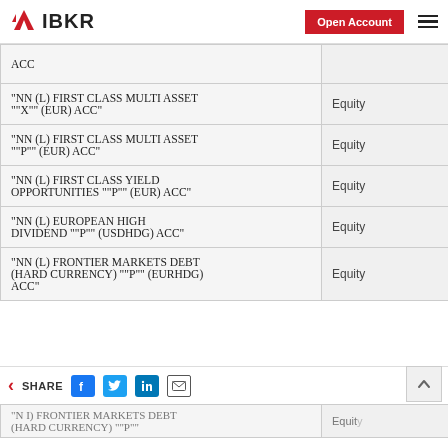IBKR | Open Account
| Fund Name | Type |
| --- | --- |
| ACC |  |
| "NN (L) FIRST CLASS MULTI ASSET ""X"" (EUR) ACC" | Equity |
| "NN (L) FIRST CLASS MULTI ASSET ""P"" (EUR) ACC" | Equity |
| "NN (L) FIRST CLASS YIELD OPPORTUNITIES ""P"" (EUR) ACC" | Equity |
| "NN (L) EUROPEAN HIGH DIVIDEND ""P"" (USDHDG) ACC" | Equity |
| "NN (L) FRONTIER MARKETS DEBT (HARD CURRENCY) ""P"" (EURHDG) ACC" | Equity |
| "NN (L) FRONTIER MARKETS DEBT (HARD CURRENCY) ""P"" | Equity |
SHARE | Back | Scroll to top